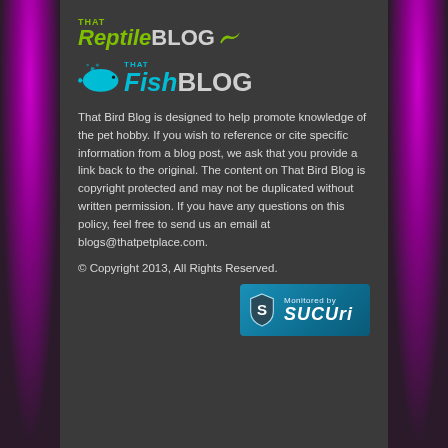[Figure (logo): That Reptile Blog logo with green text and lizard icon]
[Figure (logo): That Fish Blog logo with cyan fish icon and text]
That Bird Blog is designed to help promote knowledge of the pet hobby. If you wish to reference or cite specific information from a blog post, we ask that you provide a link back to the original. The content on That Bird Blog is copyright protected and may not be duplicated without written permission. If you have any questions on this policy, feel free to send us an email at blogs@thatpetplace.com.
© Copyright 2013, All Rights Reserved.
[Figure (logo): Monitored by Sucuri security badge with shield icon]